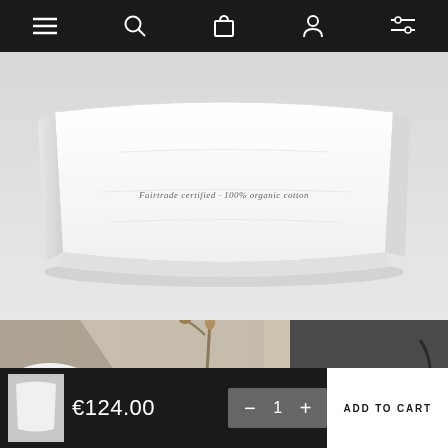[Figure (screenshot): E-commerce website navigation bar with hamburger menu, search, bag, account, and filter icons on dark background]
[Figure (photo): White folded fabric/linen product with small text label reading 'Fairtrade certified · 100% organic cotton' on a light grey background]
Fairtrade certified · 100% organic cotton
[Figure (photo): Bottom portion of lifestyle product photography showing dried botanicals, a white rounded object, a red element, and a dark object on the right against a beige and dark grey split background]
€124.00
− 1 +
ADD TO CART